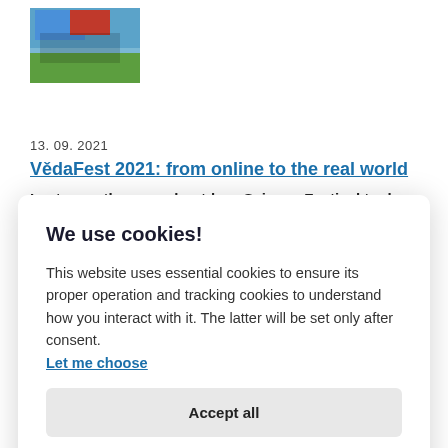[Figure (photo): Outdoor science festival tent with people on green grass under blue sky]
13. 09. 2021
VědaFest 2021: from online to the real world
Last year, the annual outdoor Science Festival took
We use cookies!
This website uses essential cookies to ensure its proper operation and tracking cookies to understand how you interact with it. The latter will be set only after consent. Let me choose
Accept all
Reject all